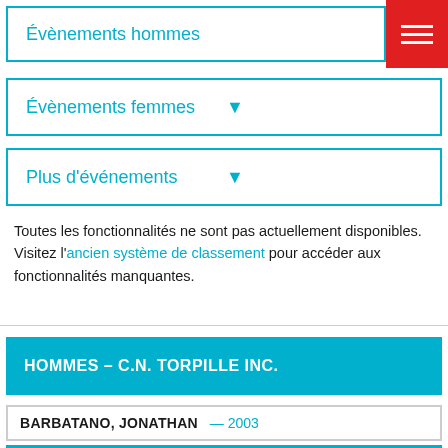Évènements hommes
Évènements femmes
Plus d'événements
Toutes les fonctionnalités ne sont pas actuellement disponibles. Visitez l'ancien système de classement pour accéder aux fonctionnalités manquantes.
HOMMES – C.N. TORPILLE INC.
BARBATANO, JONATHAN — 2003